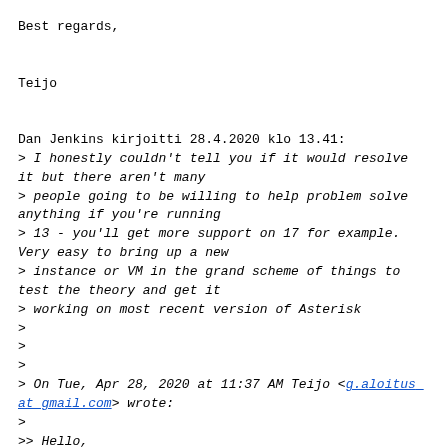Best regards,

Teijo
Dan Jenkins kirjoitti 28.4.2020 klo 13.41:
> I honestly couldn't tell you if it would resolve it but there aren't many
> people going to be willing to help problem solve anything if you're running
> 13 - you'll get more support on 17 for example. Very easy to bring up a new
> instance or VM in the grand scheme of things to test the theory and get it
> working on most recent version of Asterisk
>
>
>
> On Tue, Apr 28, 2020 at 11:37 AM Teijo <g.aloitus at gmail.com> wrote:
>
>> Hello,
>>
>>
>> Currently audio conference. Should upgrading Asterisk from 13 to newer
>> version resolve webrtc/iOS problem?
>>